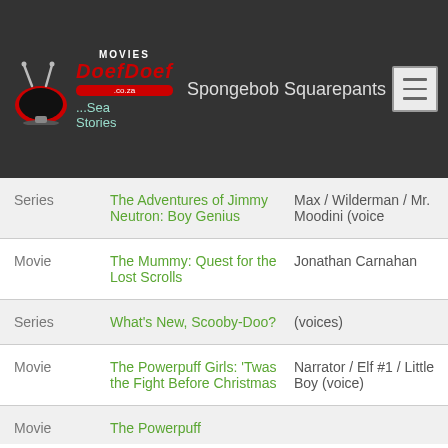Movies DoefDoef — Spongebob Squarepants
| Type | Title | Role |
| --- | --- | --- |
|  | ...Sea Stories |  |
| Series | The Adventures of Jimmy Neutron: Boy Genius | Max / Wilderman / Mr. Moodini (voice |
| Movie | The Mummy: Quest for the Lost Scrolls | Jonathan Carnahan |
| Series | What's New, Scooby-Doo? | (voices) |
| Movie | The Powerpuff Girls: 'Twas the Fight Before Christmas | Narrator / Elf #1 / Little Boy (voice) |
| Movie | The Powerpuff Girls: The M... |  |